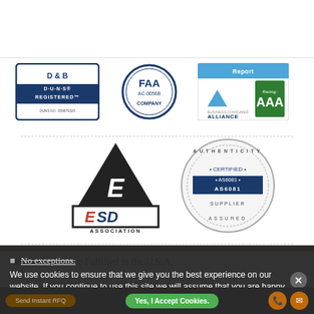[Figure (logo): D-U-N-S Registered badge with blue border, DUNS NO. 059876325]
[Figure (logo): FAA AC-0056B certified company circular badge]
[Figure (logo): Business Consumer Alliance Report, Rating AAA badge]
[Figure (logo): ESD Association ANSI/ESD-S20.20 badge with triangle logo]
[Figure (logo): Authenticity Certified AS6081 Supplier Assured circular badge]
All Orders are Fulfilled in the U.S.A.
All shipments must comply with U.S.A export laws.
No exceptions.
We use cookies to ensure that we give you the best experience on our website. If you continue to use this site we will assume that you are happy with it.
Yes, I Accept Cookies.